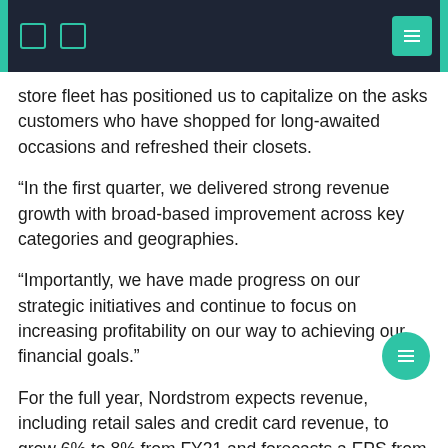store fleet has positioned us to capitalize on the asks customers who have shopped for long-awaited occasions and refreshed their closets.
“In the first quarter, we delivered strong revenue growth with broad-based improvement across key categories and geographies.
“Importantly, we have made progress on our strategic initiatives and continue to focus on increasing profitability on our way to achieving our financial goals.”
For the full year, Nordstrom expects revenue, including retail sales and credit card revenue, to grow 6% to 8% from FY21 and forecasts a EPS from $3.38 to $3.68.
The retailer ended the first quarter with 356 stores, including